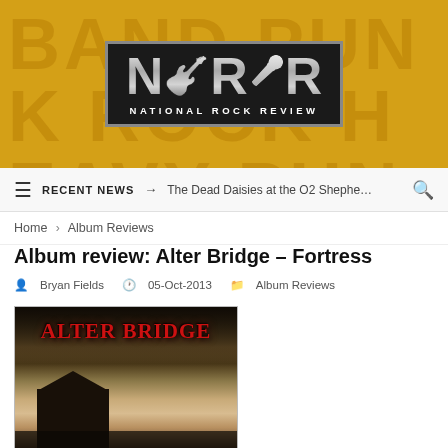[Figure (logo): National Rock Review logo — NRR letters with guitar graphic on dark background, gold/yellow textured banner behind it with faded text]
≡  RECENT NEWS →  The Dead Daisies at the O2 Shephe…  🔍
Home > Album Reviews
Album review: Alter Bridge – Fortress
Bryan Fields  05-Oct-2013  Album Reviews
[Figure (photo): Alter Bridge Fortress album cover: red gothic lettering 'ALTER BRIDGE' over dark stormy sky with sepia-toned derelict building/shack at bottom]